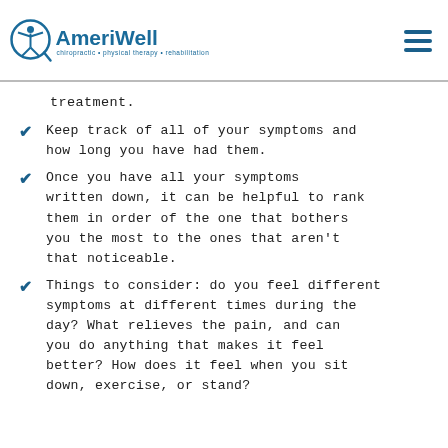AmeriWell chiropractic • physical therapy • rehabilitation
treatment.
Keep track of all of your symptoms and how long you have had them.
Once you have all your symptoms written down, it can be helpful to rank them in order of the one that bothers you the most to the ones that aren't that noticeable.
Things to consider: do you feel different symptoms at different times during the day? What relieves the pain, and can you do anything that makes it feel better? How does it feel when you sit down, exercise, or stand?